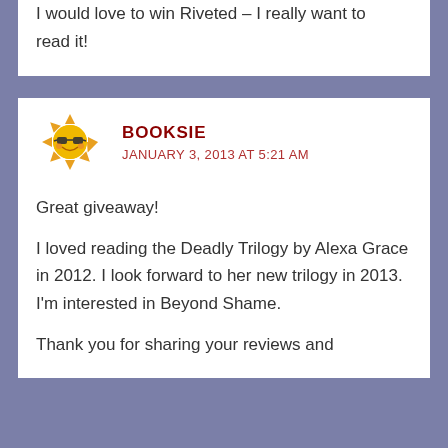I would love to win Riveted – I really want to read it!
BOOKSIE
JANUARY 3, 2013 AT 5:21 AM
Great giveaway!

I loved reading the Deadly Trilogy by Alexa Grace in 2012. I look forward to her new trilogy in 2013. I'm interested in Beyond Shame.

Thank you for sharing your reviews and